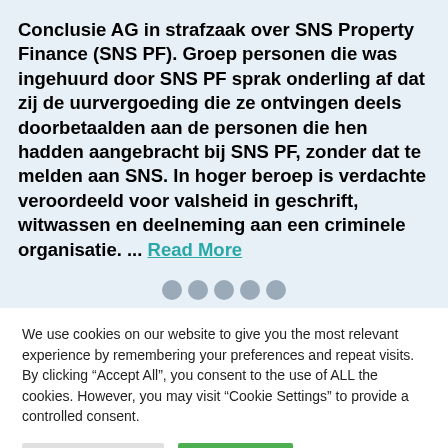Conclusie AG in strafzaak over SNS Property Finance (SNS PF). Groep personen die was ingehuurd door SNS PF sprak onderling af dat zij de uurvergoeding die ze ontvingen deels doorbetaalden aan de personen die hen hadden aangebracht bij SNS PF, zonder dat te melden aan SNS. In hoger beroep is verdachte veroordeeld voor valsheid in geschrift, witwassen en deelneming aan een criminele organisatie. ... Read More
We use cookies on our website to give you the most relevant experience by remembering your preferences and repeat visits. By clicking "Accept All", you consent to the use of ALL the cookies. However, you may visit "Cookie Settings" to provide a controlled consent.